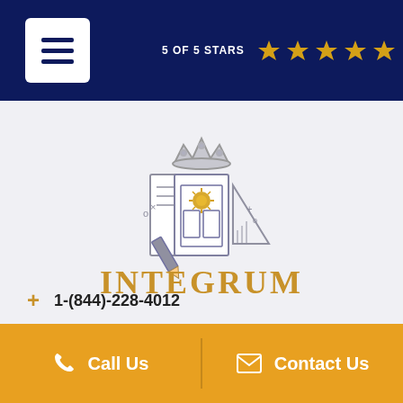5 OF 5 STARS ★★★★★
[Figure (logo): Integrum company logo with crown, architectural/design tools illustration (blueprints, ruler, pencil), and gold 'INTEGRUM' text]
+ 1-(844)-228-4012
Call Us   Contact Us